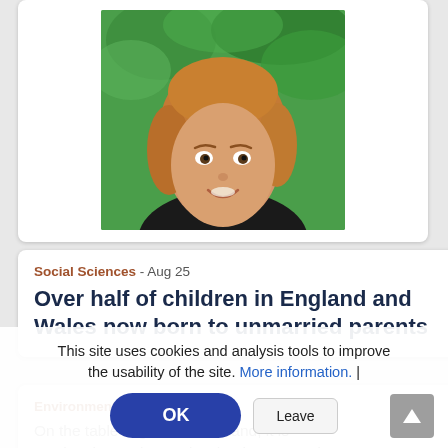[Figure (photo): Portrait photo of a woman with auburn/blonde hair smiling, photographed outdoors with green foliage in background]
Social Sciences - Aug 25
Over half of children in England and Wales now born to unmarried parents
Environment - Aug 25
This site uses cookies and analysis tools to improve the usability of the site. More information. |
OK
Leave